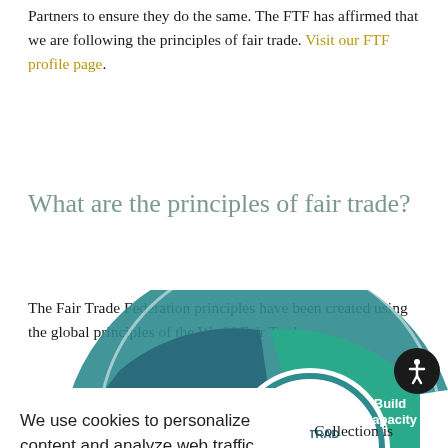Partners to ensure they do the same. The FTF has affirmed that we are following the principles of fair trade. Visit our FTF profile page.
What are the principles of fair trade?
The Fair Trade Federation principles have been created using the global principles of the World Fair Trade
We use cookies to personalize content and analyze web traffic. About our cookies. Accept Cookies
day Collection is s in all aspects of
[Figure (infographic): Partial circular Fair Trade infographic showing 'Respect Cultural Identity' and 'Build Capacity' segments in teal and dark teal colors, with 'FAIR TRAD' text visible in the center circle with hands logo]